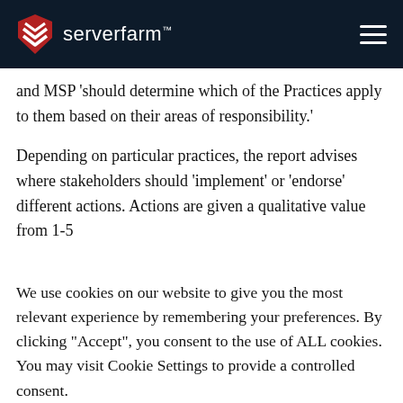[Figure (logo): Serverfarm logo with red shield icon and white text on dark navy navigation bar with hamburger menu icon]
and MSP ‘should determine which of the Practices apply to them based on their areas of responsibility.’
Depending on particular practices, the report advises where stakeholders should ‘implement’ or ‘endorse’ different actions. Actions are given a qualitative value from 1-5
We use cookies on our website to give you the most relevant experience by remembering your preferences. By clicking “Accept”, you consent to the use of ALL cookies. You may visit Cookie Settings to provide a controlled consent.
Cookie settings   ACCEPT